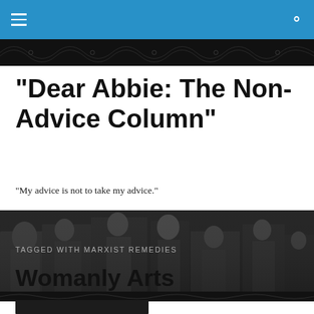Navigation bar with hamburger menu and search icon
[Figure (other): Dark ornamental decorative strip with scrollwork pattern]
"Dear Abbie: The Non-Advice Column"
"My advice is not to take my advice."
[Figure (photo): Black and white photograph of people in a social setting, appears to be a scene from a film or theater]
[Figure (other): Dark ornamental decorative strip with scrollwork pattern]
TAGGED WITH MARXIST REMEDIES
Womanly Arts
[Figure (photo): Partial black and white photograph at bottom of page]